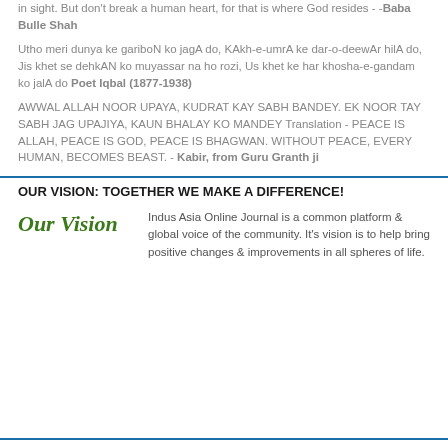in sight. But don't break a human heart, for that is where God resides - -Baba Bulle Shah
Utho meri dunya ke gariboN ko jagA do, KAkh-e-umrA ke dar-o-deewAr hilA do, Jis khet se dehkAN ko muyassar na ho rozi, Us khet ke har khosha-e-gandam ko jalA do Poet Iqbal (1877-1938)
AWWAL ALLAH NOOR UPAYA, KUDRAT KAY SABH BANDEY. EK NOOR TAY SABH JAG UPAJIYA, KAUN BHALAY KO MANDEY Translation - PEACE IS ALLAH, PEACE IS GOD, PEACE IS BHAGWAN. WITHOUT PEACE, EVERY HUMAN, BECOMES BEAST. - Kabir, from Guru Granth ji
OUR VISION: TOGETHER WE MAKE A DIFFERENCE!
[Figure (illustration): Our Vision logo in italic green script font]
Indus Asia Online Journal is a common platform & global voice of the community. It's vision is to help bring positive changes & improvements in all spheres of life.